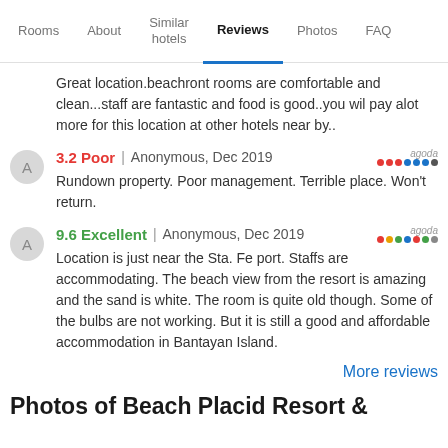Rooms | About | Similar hotels | Reviews | Photos | FAQ
Great location.beachront rooms are comfortable and clean...staff are fantastic and food is good..you wil pay alot more for this location at other hotels near by..
3.2 Poor | Anonymous, Dec 2019
Rundown property. Poor management. Terrible place. Won't return.
9.6 Excellent | Anonymous, Dec 2019
Location is just near the Sta. Fe port. Staffs are accommodating. The beach view from the resort is amazing and the sand is white. The room is quite old though. Some of the bulbs are not working. But it is still a good and affordable accommodation in Bantayan Island.
More reviews
Photos of Beach Placid Resort &